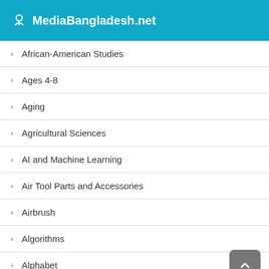MediaBangladesh.net
African-American Studies
Ages 4-8
Aging
Agricultural Sciences
AI and Machine Learning
Air Tool Parts and Accessories
Airbrush
Algorithms
Alphabet
Alternative and Holistic